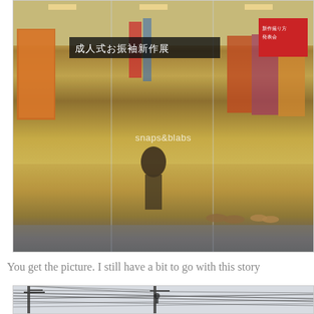[Figure (photo): A Japanese kimono shop storefront with glass windows showing colorful traditional kimonos on display, mannequins wearing elaborate floral kimonos, a woman sitting at a counter, signs in Japanese characters including '成人式お振袖新作展', and a watermark reading 'snaps&blabs'.]
You get the picture. I still have a bit to go with this story
[Figure (photo): A black and white or muted color photograph showing utility poles and a dense tangle of electrical wires against a light sky.]